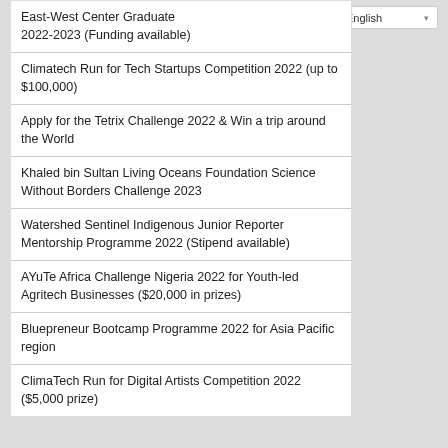East-West Center Graduate 2022-2023 (Funding available)
Climatech Run for Tech Startups Competition 2022 (up to $100,000)
Apply for the Tetrix Challenge 2022 & Win a trip around the World
Khaled bin Sultan Living Oceans Foundation Science Without Borders Challenge 2023
Watershed Sentinel Indigenous Junior Reporter Mentorship Programme 2022 (Stipend available)
AYuTe Africa Challenge Nigeria 2022 for Youth-led Agritech Businesses ($20,000 in prizes)
Bluepreneur Bootcamp Programme 2022 for Asia Pacific region
ClimaTech Run for Digital Artists Competition 2022 ($5,000 prize)